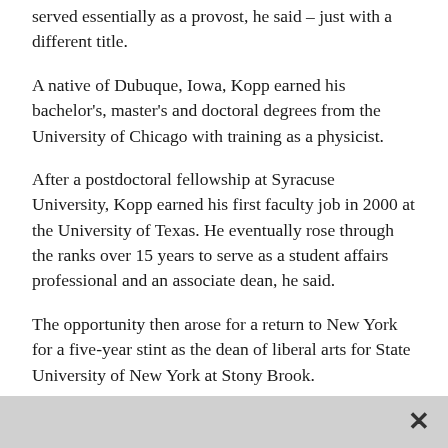served essentially as a provost, he said – just with a different title.
A native of Dubuque, Iowa, Kopp earned his bachelor's, master's and doctoral degrees from the University of Chicago with training as a physicist.
After a postdoctoral fellowship at Syracuse University, Kopp earned his first faculty job in 2000 at the University of Texas. He eventually rose through the ranks over 15 years to serve as a student affairs professional and an associate dean, he said.
The opportunity then arose for a return to New York for a five-year stint as the dean of liberal arts for State University of New York at Stony Brook.